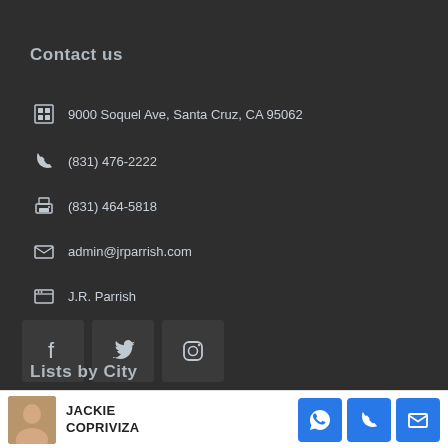Contact us
9000 Soquel Ave, Santa Cruz, CA 95062
(831) 476-2222
(831) 464-5818
admin@jrparrish.com
J.R. Parrish
[Figure (other): Social media icons: Facebook, Twitter, Instagram]
Lists by City
JACKIE COPRIVIZA